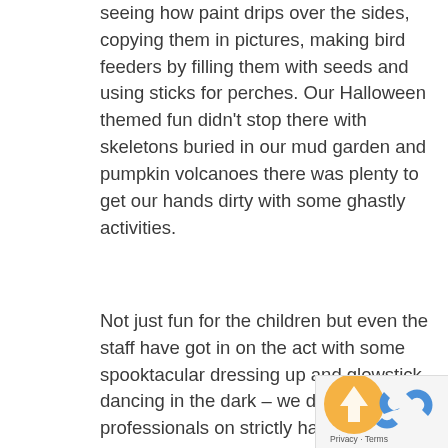seeing how paint drips over the sides, copying them in pictures, making bird feeders by filling them with seeds and using sticks for perches. Our Halloween themed fun didn't stop there with skeletons buried in our mud garden and pumpkin volcanoes there was plenty to get our hands dirty with some ghastly activities.
Not just fun for the children but even the staff have got in on the act with some spooktacular dressing up and glowstick dancing in the dark – we don't think the professionals on strictly have anything to be worried about!
With loose parts play, role play, outside play, imaginative play and messy play – we hope that
[Figure (other): reCAPTCHA privacy badge with circular logo and Privacy · Terms text in bottom right corner]